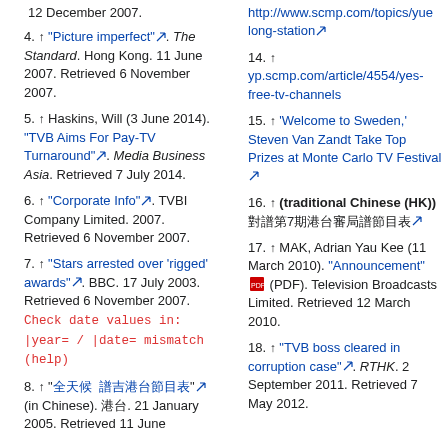12 December 2007.
4. ↑ "Picture imperfect". The Standard. Hong Kong. 11 June 2007. Retrieved 6 November 2007.
5. ↑ Haskins, Will (3 June 2014). "TVB Aims For Pay-TV Turnaround". Media Business Asia. Retrieved 7 July 2014.
6. ↑ "Corporate Info". TVBI Company Limited. 2007. Retrieved 6 November 2007.
7. ↑ "Stars arrested over 'rigged' awards". BBC. 17 July 2003. Retrieved 6 November 2007. Check date values in: |year= / |date= mismatch (help)
8. ↑ "[Chinese characters]" (in Chinese). [Chinese]. 21 January 2005. Retrieved 11 June
14. ↑ yp.scmp.com/article/4554/yes-free-tv-channels
15. ↑ 'Welcome to Sweden,' Steven Van Zandt Take Top Prizes at Monte Carlo TV Festival
16. ↑ (traditional Chinese (HK)) [Chinese characters]
17. ↑ MAK, Adrian Yau Kee (11 March 2010). "Announcement" (PDF). Television Broadcasts Limited. Retrieved 12 March 2010.
18. ↑ "TVB boss cleared in corruption case". RTHK. 2 September 2011. Retrieved 7 May 2012.